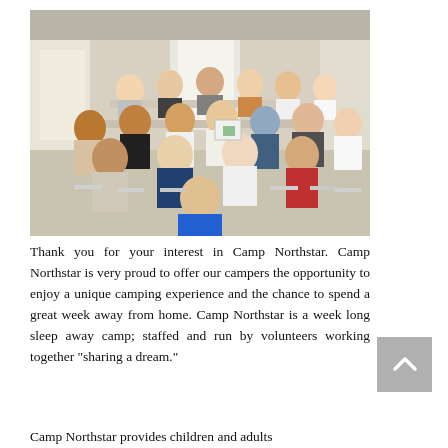[Figure (photo): Group photo of camp participants (children and adults with disabilities) seated in chairs inside a large room/building, smiling at the camera. One person in the front is wearing a blue shirt and sitting on the floor.]
Thank you for your interest in Camp Northstar. Camp Northstar is very proud to offer our campers the opportunity to enjoy a unique camping experience and the chance to spend a great week away from home. Camp Northstar is a week long sleep away camp; staffed and run by volunteers working together “sharing a dream.”
Camp Northstar provides children and adults